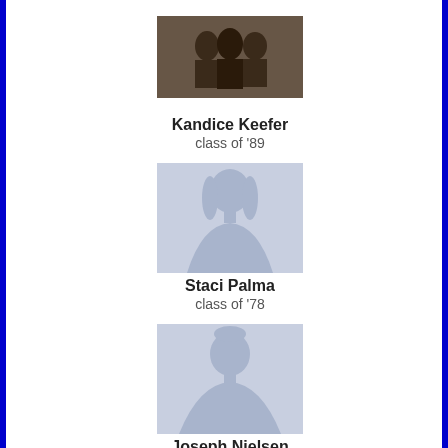[Figure (photo): Profile photo of Kandice Keefer - group photo]
Kandice Keefer
class of '89
[Figure (photo): Default female silhouette placeholder avatar for Staci Palma]
Staci Palma
class of '78
[Figure (photo): Default male silhouette placeholder avatar for Joseph Nielsen]
Joseph Nielsen
class of '01
[Figure (photo): Default female silhouette placeholder avatar for Rebecca Moran]
Rebecca Moran
class of '98